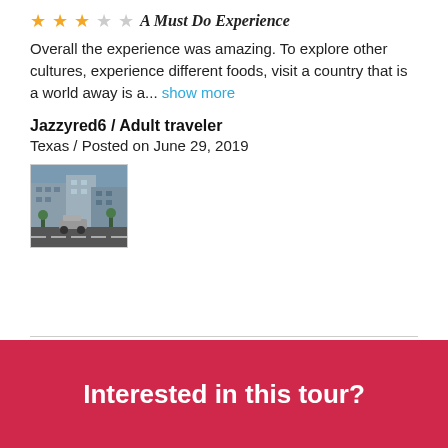★★★☆☆ A Must Do Experience
Overall the experience was amazing. To explore other cultures, experience different foods, visit a country that is a world away is a... show more
Jazzyred6 / Adult traveler
Texas / Posted on June 29, 2019
[Figure (photo): Small thumbnail photo of a street scene with buildings and a car]
Load more
Interested in this tour?